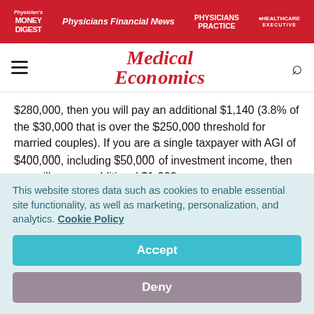Physician's Money Digest | Physicians Financial News | Physicians Practice | Healthcare Executive
[Figure (logo): Medical Economics logo with red italic text]
$280,000, then you will pay an additional $1,140 (3.8% of the $30,000 that is over the $250,000 threshold for married couples). If you are a single taxpayer with AGI of $400,000, including $50,000 of investment income, then you will pay an additional $1,900.
This website stores data such as cookies to enable essential site functionality, as well as marketing, personalization, and analytics. Cookie Policy
Accept
Deny